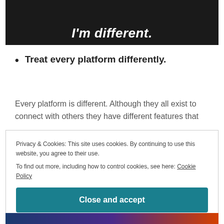[Figure (photo): Black and white photo banner with white italic bold text 'I'm different.' overlaid at the bottom]
Treat every platform differently.
Every platform is different. Although they all exist to connect with others they have different features that
Privacy & Cookies: This site uses cookies. By continuing to use this website, you agree to their use.
To find out more, including how to control cookies, see here: Cookie Policy

Close and accept
[Figure (photo): Bottom color strip with gradient from dark blue to purple to orange]